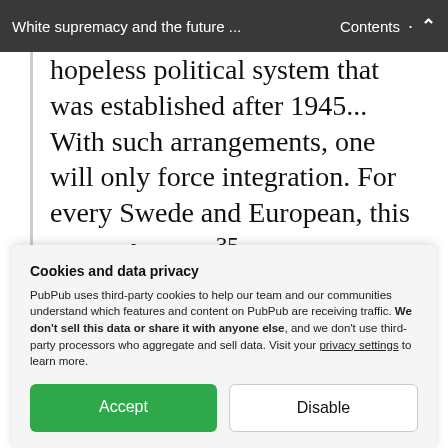White supremacy and the future ... | Contents
hopeless political system that was established after 1945... With such arrangements, one will only force integration. For every Swede and European, this is a nightmare.35 (Burkaförbud? Nej tack!, 5th of August, 2010, number 70).
H   NDM   t   th   liiti l   t
Cookies and data privacy
PubPub uses third-party cookies to help our team and our communities understand which features and content on PubPub are receiving traffic. We don't sell this data or share it with anyone else, and we don't use third-party processors who aggregate and sell data. Visit your privacy settings to learn more.
Accept | Disable